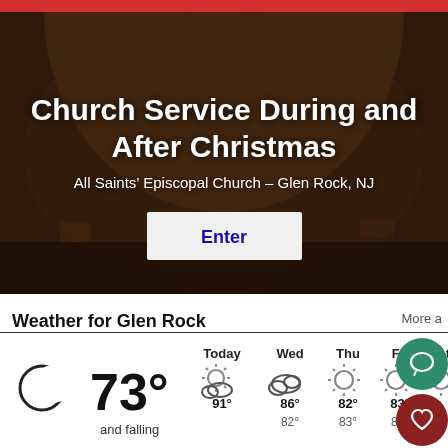[Figure (photo): Hero banner with blurred church interior background (dark brown/warm tones, arched ceiling visible). Red bar at top of screen.]
Church Service During and After Christmas
All Saints' Episcopal Church - Glen Rock, NJ
Enter
Weather for Glen Rock
[Figure (infographic): Weather widget showing current conditions and forecast. Current: crescent/partly cloudy icon, 73° and falling. Forecast: Today 91°, Wed 86°, Thu 82°, Fri 83°, Sat 86°.]